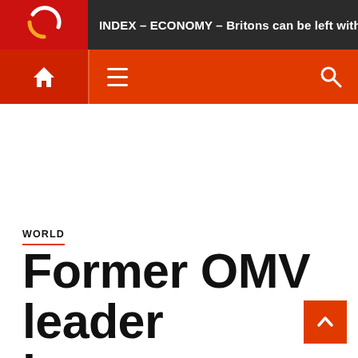INDEX – ECONOMY – Britons can be left without el
[Figure (logo): Index.hu logo — red box with circular orange and white graphic]
WORLD
Former OMV leader became